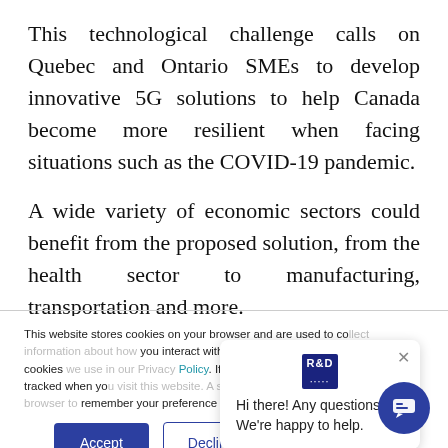This technological challenge calls on Quebec and Ontario SMEs to develop innovative 5G solutions to help Canada become more resilient when facing situations such as the COVID-19 pandemic.
A wide variety of economic sectors could benefit from the proposed solution, from the health sector to manufacturing, transportation and more.
This website stores cookies on your browser and are used to collect information about how you interact with our website. Find out more about the cookies we use in our Privacy Policy. If you decline, your information won't be tracked when you visit this website. A single cookie will be used in your browser to remember your preference not to be tracked.
Hi there! Any questions? We're happy to help.